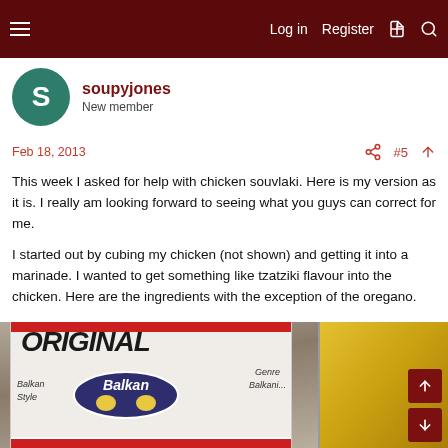Log in  Register
soupyjones
New member
Feb 18, 2013  #5
This week I asked for help with chicken souvlaki. Here is my version as it is. I really am looking forward to seeing what you guys can correct for me.

I started out by cubing my chicken (not shown) and getting it into a marinade. I wanted to get something like tzatziki flavour into the chicken. Here are the ingredients with the exception of the oregano.
[Figure (photo): Photo of an ORIGINAL Balkan Style yogurt container and what appears to be a lemon or piece of bread in the background]